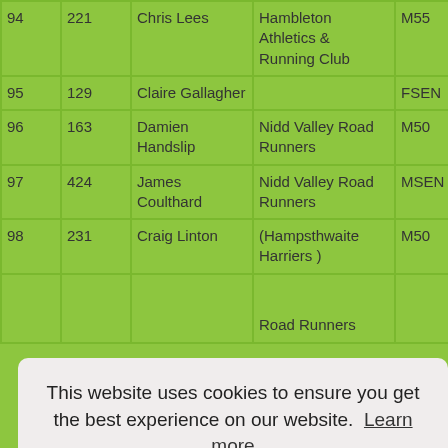| Pos | No | Name | Club | Cat | Cat Pos |
| --- | --- | --- | --- | --- | --- |
| 94 | 221 | Chris Lees | Hambleton Athletics & Running Club | M55 | 14/17 |
| 95 | 129 | Claire Gallagher |  | FSEN | 6/43 |
| 96 | 163 | Damien Handslip | Nidd Valley Road Runners | M50 | 15/47 |
| 97 | 424 | James Coulthard | Nidd Valley Road Runners | MSEN | 29/45 |
| 98 | 231 | Craig Linton | (Hampsthwaite Harriers ) | M50 | 16/47 |
| 99 |  |  | Road Runners |  |  |
This website uses cookies to ensure you get the best experience on our website. Learn more
Close and don't show again